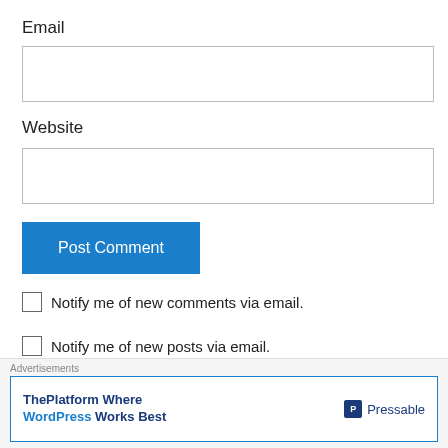Email
[Figure (screenshot): Empty text input field for Email]
Website
[Figure (screenshot): Empty text input field for Website]
[Figure (screenshot): Blue 'Post Comment' button]
Notify me of new comments via email.
Notify me of new posts via email.
This site uses Akismet to reduce spam. Learn how your
[Figure (screenshot): Advertisement banner: ThePlatform Where WordPress Works Best — Pressable]